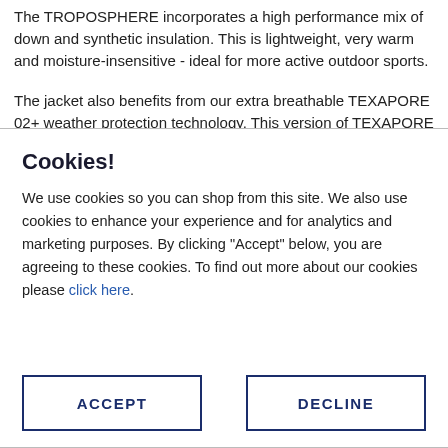The TROPOSPHERE incorporates a high performance mix of down and synthetic insulation. This is lightweight, very warm and moisture-insensitive - ideal for more active outdoor sports.
The jacket also benefits from our extra breathable TEXAPORE 02+ weather protection technology. This version of TEXAPORE is slightly stretchy and offers outstanding wear comfort. And if ventilation is required during heavier activity it is...
Cookies!
We use cookies so you can shop from this site. We also use cookies to enhance your experience and for analytics and marketing purposes. By clicking "Accept" below, you are agreeing to these cookies. To find out more about our cookies please click here.